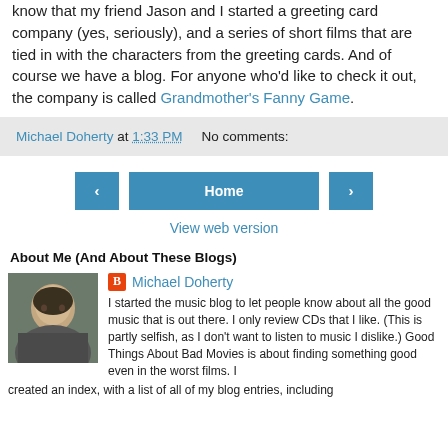know that my friend Jason and I started a greeting card company (yes, seriously), and a series of short films that are tied in with the characters from the greeting cards. And of course we have a blog. For anyone who'd like to check it out, the company is called Grandmother's Fanny Game.
Michael Doherty at 1:33 PM   No comments:
‹  Home  ›
View web version
About Me (And About These Blogs)
[Figure (photo): Profile photo of Michael Doherty]
Michael Doherty
I started the music blog to let people know about all the good music that is out there. I only review CDs that I like. (This is partly selfish, as I don't want to listen to music I dislike.) Good Things About Bad Movies is about finding something good even in the worst films. I created an index, with a list of all of my blog entries, including